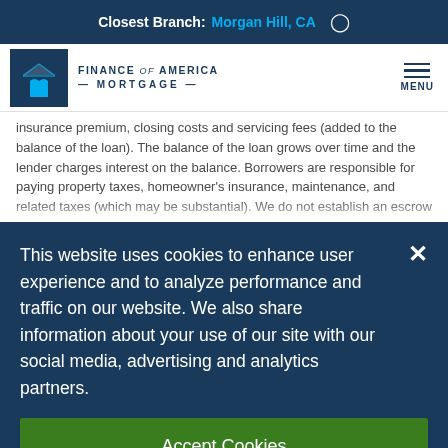Closest Branch: Morgan Hill, CA
[Figure (logo): Finance of America Mortgage logo with house icon]
insurance premium, closing costs and servicing fees (added to the balance of the loan). The balance of the loan grows over time and the lender charges interest on the balance. Borrowers are responsible for paying property taxes, homeowner's insurance, maintenance, and related taxes (which may be substantial). We do not establish an escrow account for disbursements of these payments. A set-aside account can be set up to pay taxes and
This website uses cookies to enhance user experience and to analyze performance and traffic on our website. We also share information about your use of our site with our social media, advertising and analytics partners.
Accept Cookies